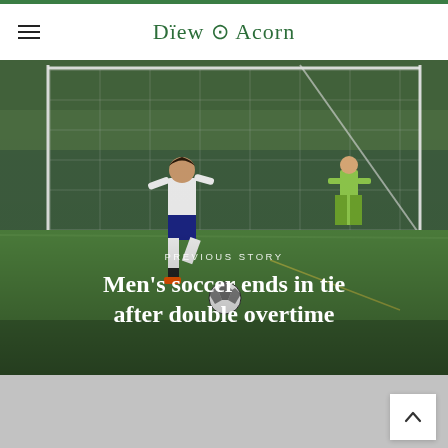Drew Acorn
[Figure (photo): Soccer player in white and navy uniform kicking a ball on a green turf field, with a goalkeeper in yellow-green uniform standing near the goal net in the background. Text overlay reads 'PREVIOUS STORY' and headline 'Men's soccer ends in tie after double overtime'.]
Men's soccer ends in tie after double overtime